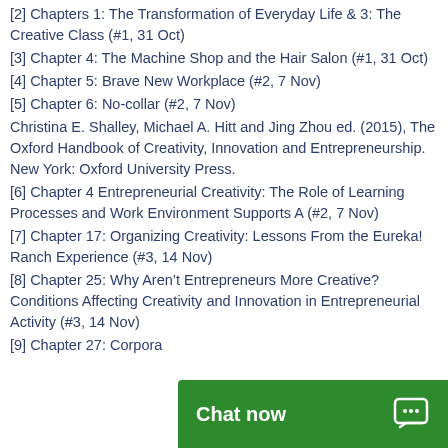[2] Chapters 1: The Transformation of Everyday Life & 3: The Creative Class (#1, 31 Oct)
[3] Chapter 4: The Machine Shop and the Hair Salon (#1, 31 Oct)
[4] Chapter 5: Brave New Workplace (#2, 7 Nov)
[5] Chapter 6: No-collar (#2, 7 Nov)
Christina E. Shalley, Michael A. Hitt and Jing Zhou ed. (2015), The Oxford Handbook of Creativity, Innovation and Entrepreneurship. New York: Oxford University Press.
[6] Chapter 4 Entrepreneurial Creativity: The Role of Learning Processes and Work Environment Supports A (#2, 7 Nov)
[7] Chapter 17: Organizing Creativity: Lessons From the Eureka! Ranch Experience (#3, 14 Nov)
[8] Chapter 25: Why Aren't Entrepreneurs More Creative? Conditions Affecting Creativity and Innovation in Entrepreneurial Activity (#3, 14 Nov)
[9] Chapter 27: Corpora